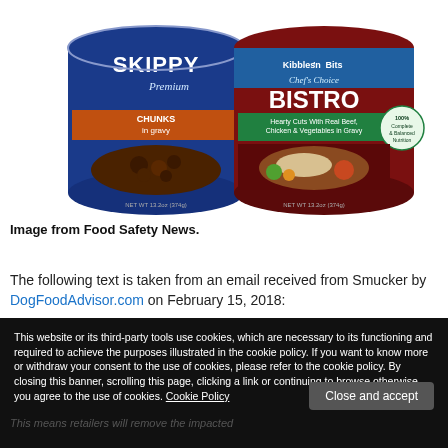[Figure (photo): Two cans of dog food: Skippy Premium Chunks in Gravy on the left (blue can) and Kibbles n Bits Chef's Choice Bistro Hearty Cuts with Real Beef, Chicken & Vegetables in Gravy on the right (red/maroon can).]
Image from Food Safety News.
The following text is taken from an email received from Smucker by DogFoodAdvisor.com on February 15, 2018:
This website or its third-party tools use cookies, which are necessary to its functioning and required to achieve the purposes illustrated in the cookie policy. If you want to know more or withdraw your consent to the use of cookies, please refer to the cookie policy. By closing this banner, scrolling this page, clicking a link or continuing to browse otherwise, you agree to the use of cookies. Cookie Policy
Close and accept
This means retailers will remove the impacted